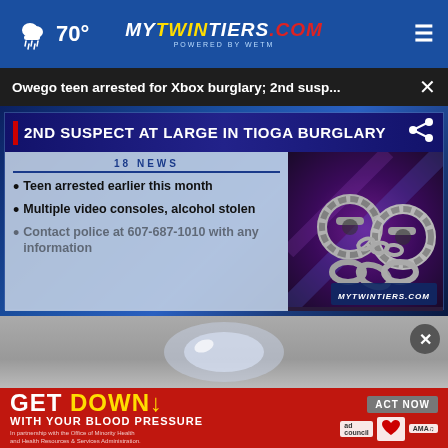70° mytwintiers.com
Owego teen arrested for Xbox burglary; 2nd susp...
[Figure (screenshot): TV news broadcast screenshot showing '2ND SUSPECT AT LARGE IN TIOGA BURGLARY' headline with bullet points: Teen arrested earlier this month, Multiple video consoles alcohol stolen, Contact police at 607-687-1010 with any information. Right side shows handcuffs image. Bottom right watermark: mytwintiers.com]
[Figure (photo): Partially visible image below the news video, appears to be a glass or crystal object on grey background with a close (x) button overlay]
GET DOWN WITH YOUR BLOOD PRESSURE In partnership with the Office of Minority Health and Health Resources & Services Administration. ACT NOW